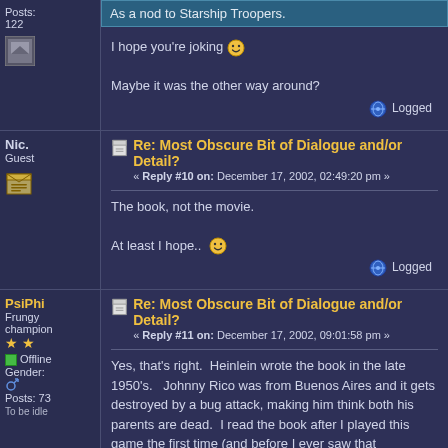Posts: 122
As a nod to Starship Troopers.
I hope you're joking :) Maybe it was the other way around?
Logged
Nic. Guest
Re: Most Obscure Bit of Dialogue and/or Detail?
« Reply #10 on: December 17, 2002, 02:49:20 pm »
The book, not the movie. At least I hope.. :)
Logged
PsiPhi Frungy champion ** Offline Gender: Posts: 73 To be idle
Re: Most Obscure Bit of Dialogue and/or Detail?
« Reply #11 on: December 17, 2002, 09:01:58 pm »
Yes, that's right.  Heinlein wrote the book in the late 1950's.   Johnny Rico was from Buenos Aires and it gets destroyed by a bug attack, making him think both his parents are dead.  I read the book after I played this game the first time (and before I ever saw that